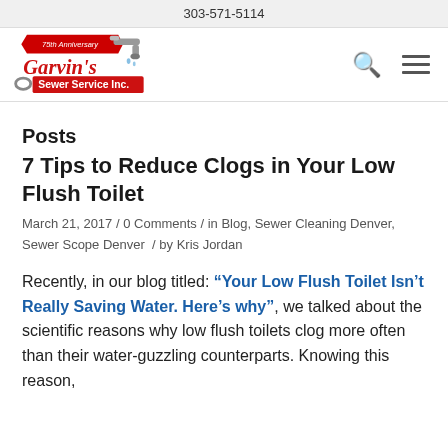303-571-5114
[Figure (logo): Garvin's Sewer Service Inc. 75th Anniversary logo with red script lettering and pipe/faucet graphic]
Posts
7 Tips to Reduce Clogs in Your Low Flush Toilet
March 21, 2017 / 0 Comments / in Blog, Sewer Cleaning Denver, Sewer Scope Denver / by Kris Jordan
Recently, in our blog titled: “Your Low Flush Toilet Isn’t Really Saving Water. Here’s why”, we talked about the scientific reasons why low flush toilets clog more often than their water-guzzling counterparts. Knowing this reason,